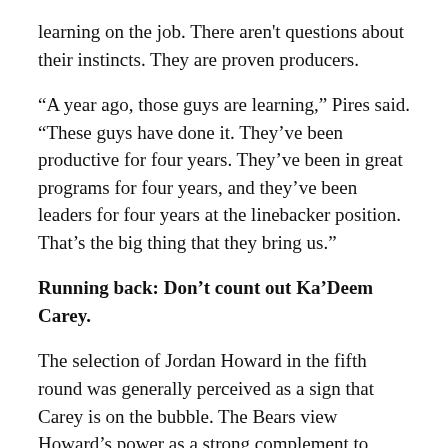learning on the job. There aren't questions about their instincts. They are proven producers.
“A year ago, those guys are learning,” Pires said. “These guys have done it. They’ve been productive for four years. They’ve been in great programs for four years, and they’ve been leaders for four years at the linebacker position. That’s the big thing that they bring us.”
Running back: Don’t count out Ka’Deem Carey.
The selection of Jordan Howard in the fifth round was generally perceived as a sign that Carey is on the bubble. The Bears view Howard’s power as a strong complement to Jeremy Langford’s speed.
But coming back coach Steve Donatell is discussing...